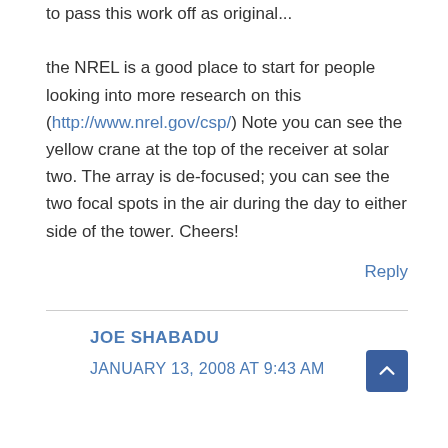to pass this work off as original... the NREL is a good place to start for people looking into more research on this (http://www.nrel.gov/csp/) Note you can see the yellow crane at the top of the receiver at solar two. The array is de-focused; you can see the two focal spots in the air during the day to either side of the tower. Cheers!
Reply
JOE SHABADU
JANUARY 13, 2008 AT 9:43 AM